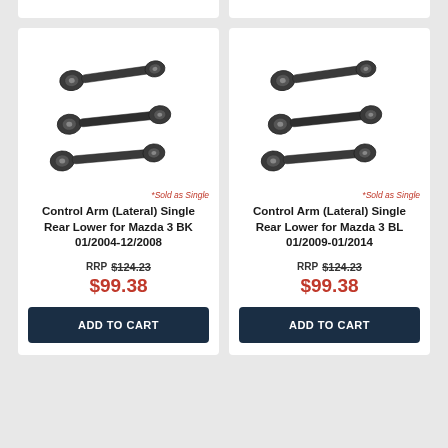[Figure (photo): Partial top of two product cards cropped at the top edge]
[Figure (photo): Three black metal control arm (lateral) parts displayed on white background]
*Sold as Single
Control Arm (Lateral) Single Rear Lower for Mazda 3 BK 01/2004-12/2008
RRP $124.23
$99.38
ADD TO CART
[Figure (photo): Three black metal control arm (lateral) parts displayed on white background]
*Sold as Single
Control Arm (Lateral) Single Rear Lower for Mazda 3 BL 01/2009-01/2014
RRP $124.23
$99.38
ADD TO CART